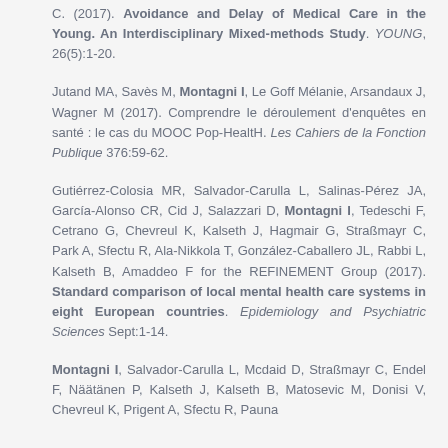C. (2017). Avoidance and Delay of Medical Care in the Young. An Interdisciplinary Mixed-methods Study. YOUNG, 26(5):1-20.
Jutand MA, Savès M, Montagni I, Le Goff Mélanie, Arsandaux J, Wagner M (2017). Comprendre le déroulement d'enquêtes en santé : le cas du MOOC Pop-HealtH. Les Cahiers de la Fonction Publique 376:59-62.
Gutiérrez-Colosia MR, Salvador-Carulla L, Salinas-Pérez JA, García-Alonso CR, Cid J, Salazzari D, Montagni I, Tedeschi F, Cetrano G, Chevreul K, Kalseth J, Hagmair G, Straßmayr C, Park A, Sfectu R, Ala-Nikkola T, González-Caballero JL, Rabbi L, Kalseth B, Amaddeo F for the REFINEMENT Group (2017). Standard comparison of local mental health care systems in eight European countries. Epidemiology and Psychiatric Sciences Sept:1-14.
Montagni I, Salvador-Carulla L, Mcdaid D, Straßmayr C, Endel F, Näätänen P, Kalseth J, Kalseth B, Matosevic M, Donisi V, Chevreul K, Prigent A, Sfectu R, Pauna